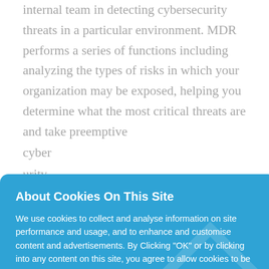internal team in detecting cybersecurity threats in a particular environment. MDR performs a series of functions including analyzing the types of risks in which your organization may be exposed, helping you determine what the most critical threats are and take preemptive … cyber … urity … ider deals fatigue is me of alerts zation's iage or exists in the
About Cookies On This Site

We use cookies to collect and analyse information on site performance and usage, and to enhance and customise content and advertisements. By Clicking "OK" or by clicking into any content on this site, you agree to allow cookies to be placed. To find out more or to change your cookie settings, visit the cookies section of our privacy policy.

OK